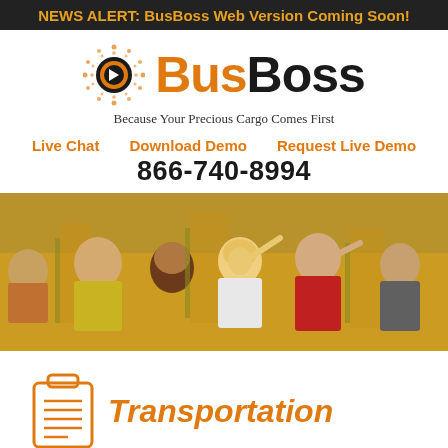NEWS ALERT: BusBoss Web Version Coming Soon!
[Figure (logo): BusBoss logo with sun/arrow icon, orange 'Bus' and black 'Boss' text]
Because Your Precious Cargo Comes First
Live Chat   Download Demo   Request Live Demo
866-740-8994
[Figure (photo): Children leaning out of school bus windows, smiling and waving]
[Figure (illustration): Clipboard icon in orange outline style]
Transportation